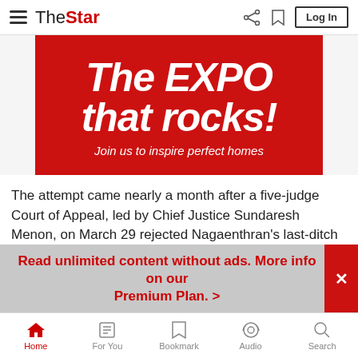The Star — navigation bar with hamburger menu, logo, share, bookmark, Log In
[Figure (illustration): Red advertisement banner: 'The EXPO that rocks! Join us to inspire perfect homes']
The attempt came nearly a month after a five-judge Court of Appeal, led by Chief Justice Sundaresh Menon, on March 29 rejected Nagaenthran's last-ditch bid to challenge his death sentence, calling it a blatant and egregious abuse of the cou…
Read unlimited content without ads. More info on our Premium Plan. >
Home | For You | Bookmark | Audio | Search